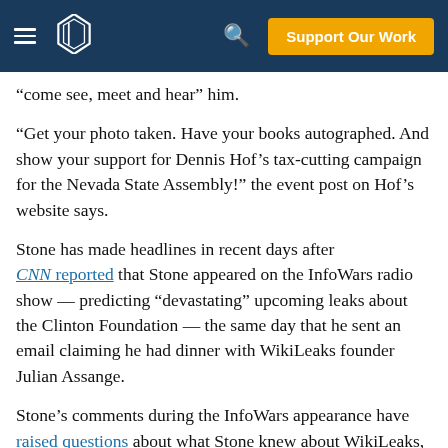Support Our Work
“come see, meet and hear” him.
“Get your photo taken. Have your books autographed. And show your support for Dennis Hof’s tax-cutting campaign for the Nevada State Assembly!” the event post on Hof’s website says.
Stone has made headlines in recent days after CNN reported that Stone appeared on the InfoWars radio show — predicting “devastating” upcoming leaks about the Clinton Foundation — the same day that he sent an email claiming he had dinner with WikiLeaks founder Julian Assange.
Stone’s comments during the InfoWars appearance have raised questions about what Stone knew about WikiLeaks, when he knew it and whether he was in contact with Assange. Questions about the event sent to an email listed on Stone’s website were not immediately answered.